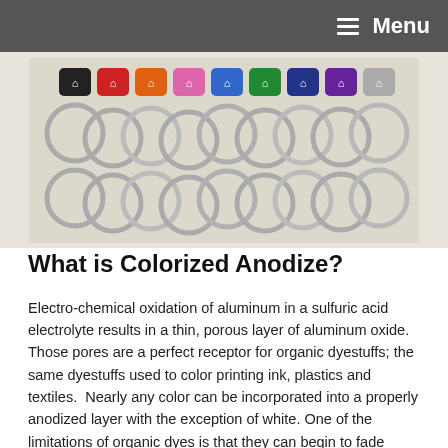Menu
[Figure (photo): A row of colorful anodized aluminum keychains in various colors (black, red, orange, pink, blue, green, dark blue, purple, grey) laid out on a light surface, each with a metal ring attached.]
What is Colorized Anodize?
Electro-chemical oxidation of aluminum in a sulfuric acid electrolyte results in a thin, porous layer of aluminum oxide. Those pores are a perfect receptor for organic dyestuffs; the same dyestuffs used to color printing ink, plastics and textiles.  Nearly any color can be incorporated into a properly anodized layer with the exception of white. One of the limitations of organic dyes is that they can begin to fade when exposed to light, temperature and/or certain chemicals.  The ability to resis…
READ MORE